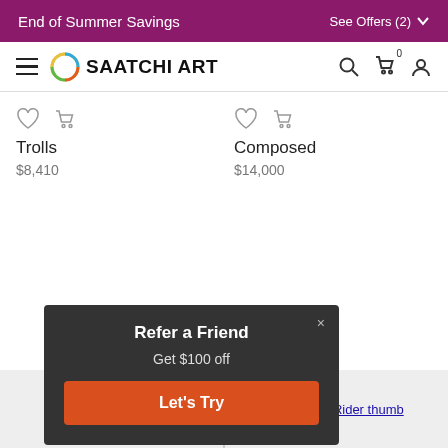End of Summer Savings — See Offers (2)
[Figure (logo): Saatchi Art logo with hamburger menu, search, cart, and user icons in navigation bar]
Trolls
$8,410
Composed
$14,000
Refer a Friend
Get $100 off
Let's Try
[Figure (photo): Thumbnail image link labeled 'oria']
[Figure (photo): Thumbnail image link labeled 'Horse and Rider thumb']